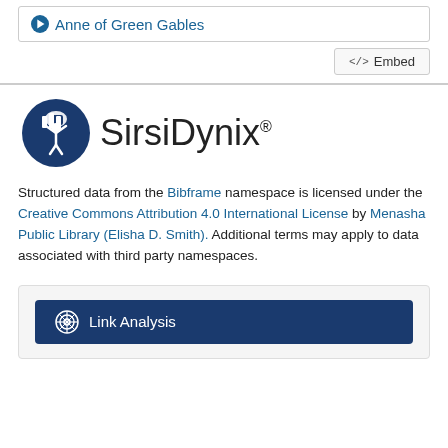Anne of Green Gables
</>  Embed
[Figure (logo): SirsiDynix logo with blue circle icon and SirsiDynix text]
Structured data from the Bibframe namespace is licensed under the Creative Commons Attribution 4.0 International License by Menasha Public Library (Elisha D. Smith). Additional terms may apply to data associated with third party namespaces.
Link Analysis